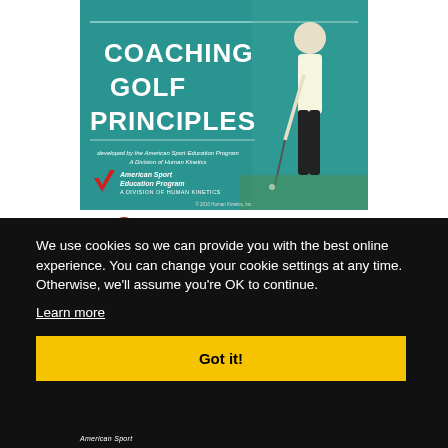[Figure (illustration): Book cover for 'Coaching Golf Principles' developed by the American Sport Education Program, A Division of Human Kinetics. Teal/green background with large white bold title text, logo at bottom left, golfer putting on the right side. Copyright 2010 Human Kinetics, Inc.]
We use cookies so we can provide you with the best online experience. You can change your cookie settings at any time. Otherwise, we'll assume you're OK to continue.
Learn more
Got it!
[Figure (illustration): Partial bottom strip showing American Sport logo and golfer image, partially visible at bottom of page.]